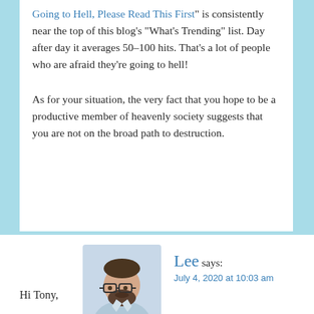Going to Hell, Please Read This First" is consistently near the top of this blog's "What's Trending" list. Day after day it averages 50–100 hits. That's a lot of people who are afraid they're going to hell!
As for your situation, the very fact that you hope to be a productive member of heavenly society suggests that you are not on the broad path to destruction.
[Figure (photo): Avatar photo of Lee, a man with glasses and a beard wearing a light blue shirt]
Lee says:
July 4, 2020 at 10:03 am
Hi Tony,